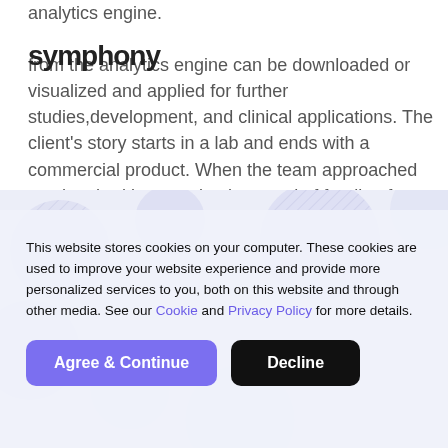analytics engine.
symphony
from the analytics engine can be downloaded or visualized and applied for further studies,development, and clinical applications. The client's story starts in a lab and ends with a commercial product. When the team approached us, they had just received a round of funding for their vision to decode the programming of the human
This website stores cookies on your computer. These cookies are used to improve your website experience and provide more personalized services to you, both on this website and through other media. See our Cookie and Privacy Policy for more details.
Agree & Continue
Decline